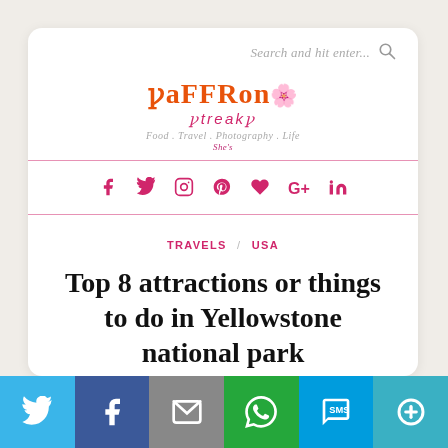Search and hit enter...
[Figure (logo): Saffron Streaks blog logo — 'saffron' in orange stylized text, 'streaks' in pink/red below, tagline: Food. Travel. Photography. Life.]
[Figure (infographic): Social media icon row: Facebook, Twitter, Instagram, Pinterest, Heart, Google+, LinkedIn — all in pink/red]
TRAVELS / USA
Top 8 attractions or things to do in Yellowstone national park
[Figure (infographic): Share bar at bottom: Twitter (blue), Facebook (dark blue), Email (gray), WhatsApp (green), SMS (light blue), More (teal)]